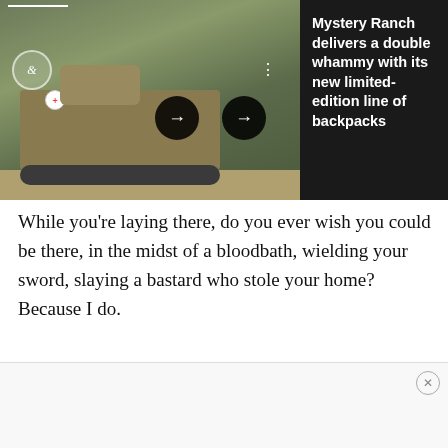[Figure (photo): Military armored personnel carrier (tank) in a field, with soldiers on top. Navigation arrows and UI overlay elements visible.]
Mystery Ranch delivers a double whammy with its new limited-edition line of backpacks
While you're laying there, do you ever wish you could be there, in the midst of a bloodbath, wielding your sword, slaying a bastard who stole your home? Because I do.
[Figure (photo): Dark closet or display rod with two dark military-style backpacks hanging on hangers, separated by a metal divider.]